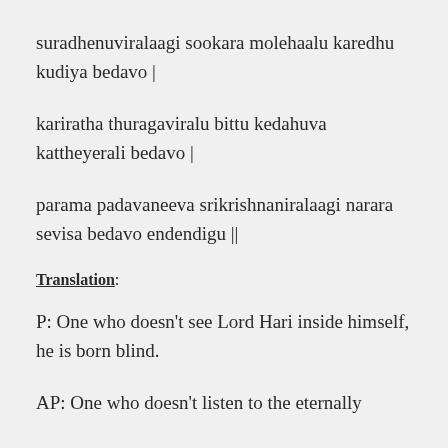suradhenuviralaagi sookara molehaalu karedhu kudiya bedavo |
kariratha thuragaviralu bittu kedahuva kattheyerali bedavo |
parama padavaneeva srikrishnaniralaagi narara sevisa bedavo endendigu ||
Translation:
P: One who doesn't see Lord Hari inside himself, he is born blind.
AP: One who doesn't listen to the eternally